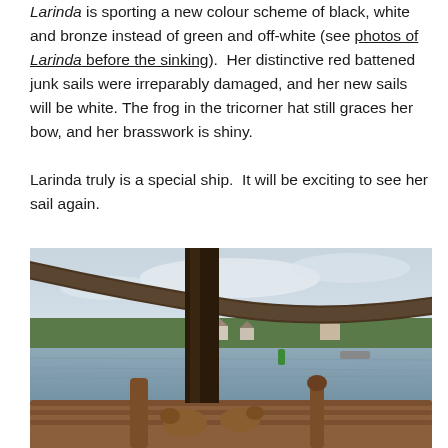Larinda is sporting a new colour scheme of black, white and bronze instead of green and off-white (see photos of Larinda before the sinking). Her distinctive red battened junk sails were irreparably damaged, and her new sails will be white. The frog in the tricorner hat still graces her bow, and her brasswork is shiny.

Larinda truly is a special ship. It will be exciting to see her sail again.
[Figure (photo): Photo of a wooden ship's deck showing carved wooden railings with decorative dragon/animal figurehead carvings, thick twisted rope rigging in foreground, calm water and green tree-lined shore in background under overcast sky.]